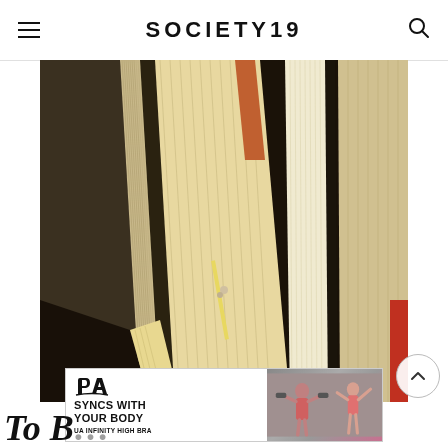SOCIETY19
[Figure (photo): Overhead close-up photograph of multiple hardcover books fanned out, showing their spines and page edges in warm beige, cream, and dark tones arranged in a radiating pattern]
[Figure (photo): Advertisement banner: Under Armour ad reading 'SYNCS WITH YOUR BODY - UA INFINITY HIGH BRA' with UA logo on white background left side and a photo of women exercising on the right side]
To B...